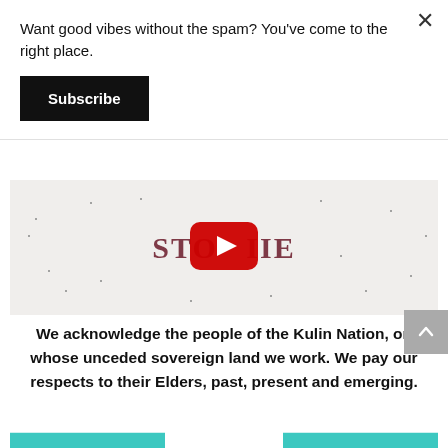Want good vibes without the spam? You've come to the right place.
Subscribe
[Figure (screenshot): YouTube video thumbnail showing partial text 'STONE' in dark red serif font with YouTube play button overlay, on a light speckled background]
We acknowledge the people of the Kulin Nation, on whose unceded sovereign land we work. We pay our respects to their Elders, past, present and emerging.
[Figure (illustration): Two teal/turquoise decorative graphic elements at the bottom of the page]